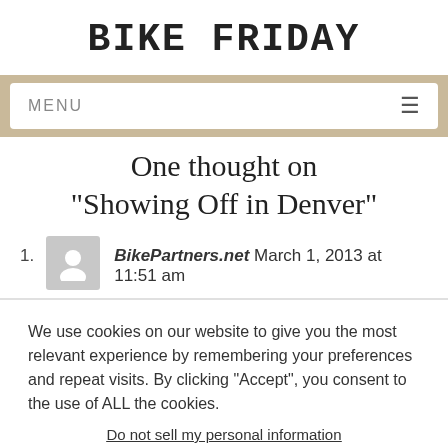BIKE FRIDAY
MENU
One thought on “Showing Off in Denver”
BikePartners.net March 1, 2013 at 11:51 am
We use cookies on our website to give you the most relevant experience by remembering your preferences and repeat visits. By clicking “Accept”, you consent to the use of ALL the cookies.
Do not sell my personal information.
Cookie Settings  Accept